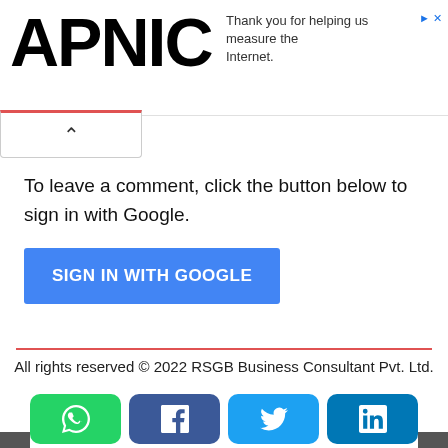APNIC
Thank you for helping us measure the Internet.
To leave a comment, click the button below to sign in with Google.
SIGN IN WITH GOOGLE
All rights reserved © 2022 RSGB Business Consultant Pvt. Ltd.